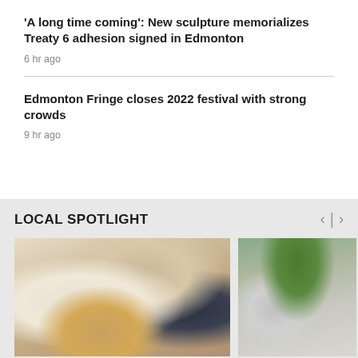'A long time coming': New sculpture memorializes Treaty 6 adhesion signed in Edmonton
6 hr ago
Edmonton Fringe closes 2022 festival with strong crowds
9 hr ago
LOCAL SPOTLIGHT
[Figure (photo): Person using a sewing machine indoors]
[Figure (photo): Outdoor street scene with trees and a vehicle]